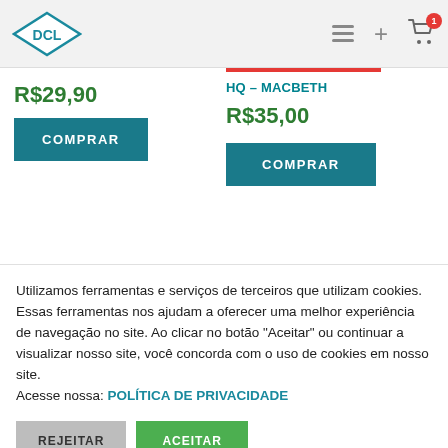DCL logo, navigation icons
R$29,90
COMPRAR
HQ – MACBETH
R$35,00
COMPRAR
Utilizamos ferramentas e serviços de terceiros que utilizam cookies. Essas ferramentas nos ajudam a oferecer uma melhor experiência de navegação no site. Ao clicar no botão "Aceitar" ou continuar a visualizar nosso site, você concorda com o uso de cookies em nosso site.
Acesse nossa: POLÍTICA DE PRIVACIDADE
REJEITAR
ACEITAR